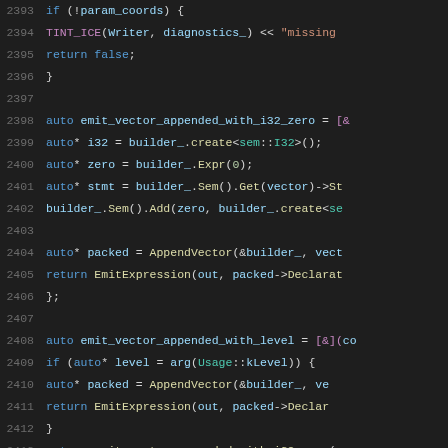Code snippet lines 2393-2413, C++ source code with syntax highlighting showing vector append functions
[Figure (screenshot): C++ source code editor view showing lines 2393-2413 with dark theme syntax highlighting. Code includes conditional checks, lambda expressions, and vector append helper functions.]